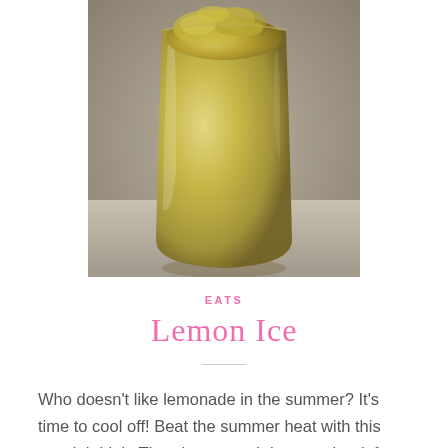[Figure (photo): A close-up photo of a frozen lemon ice slush drink in a tall clear glass, showing a yellow-green granita texture, on a light wooden surface.]
EATS
Lemon Ice
Who doesn't like lemonade in the summer? It's time to cool off! Beat the summer heat with this special drink. There's not much hot weather left this season, so hurry!